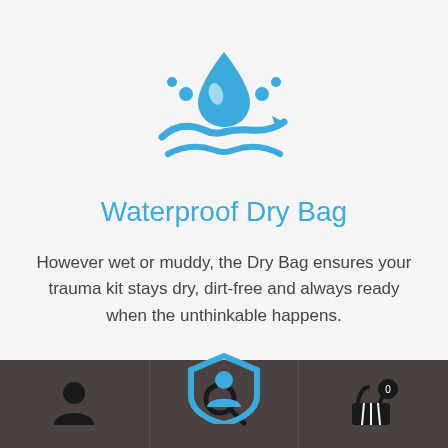[Figure (illustration): Blue waterproof/water-splash icon with water drop and hands/waves with arrow motif]
Waterproof Dry Bag
However wet or muddy, the Dry Bag ensures your trauma kit stays dry, dirt-free and always ready when the unthinkable happens.
[Figure (illustration): Blue shield with home/person icon, partially visible at bottom of content area]
[Figure (illustration): Navigation bar with person icon, search icon, and shopping basket icon with badge showing 0]